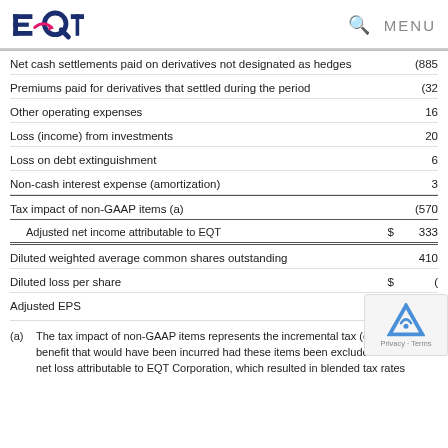EQT [logo] | Search | MENU
|  | $ | Value |
| --- | --- | --- |
| Net cash settlements paid on derivatives not designated as hedges |  | (885 |
| Premiums paid for derivatives that settled during the period |  | (32 |
| Other operating expenses |  | 16 |
| Loss (income) from investments |  | 20 |
| Loss on debt extinguishment |  | 6 |
| Non-cash interest expense (amortization) |  | 3 |
| Tax impact of non-GAAP items (a) |  | (570 |
| Adjusted net income attributable to EQT | $ | 333 |
| Diluted weighted average common shares outstanding |  | 410 |
| Diluted loss per share | $ | ( |
| Adjusted EPS | $ |  |
(a) The tax impact of non-GAAP items represents the incremental tax (e... benefit that would have been incurred had these items been exclude... net loss attributable to EQT Corporation, which resulted in blended tax rates